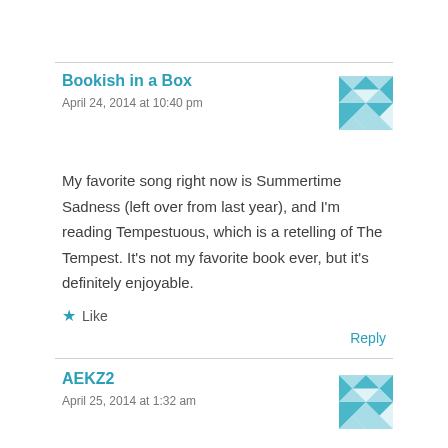Bookish in a Box
April 24, 2014 at 10:40 pm
My favorite song right now is Summertime Sadness (left over from last year), and I'm reading Tempestuous, which is a retelling of The Tempest. It's not my favorite book ever, but it's definitely enjoyable.
Like
Reply
AEKZ2
April 25, 2014 at 1:32 am